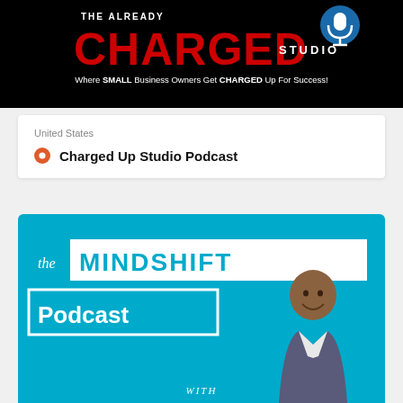[Figure (logo): Charged Up Studio banner logo with red CHARGED text on black background and tagline: Where SMALL Business Owners Get CHARGED Up For Success!]
United States
Charged Up Studio Podcast
[Figure (illustration): The MINDSHIFT Podcast cover art: cyan/teal background, white text boxes with 'the MINDSHIFT Podcast' text in bold, man in suit on right side, 'WITH' text at bottom]